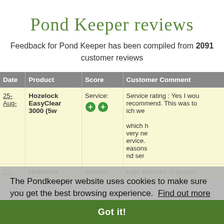Pond Keeper reviews
Feedback for Pond Keeper has been compiled from 2091 customer reviews
| Date | Product | Score | Customer Comment |
| --- | --- | --- | --- |
| 25-Aug- | Hozelock EasyClear 3000 (5w | Service: ++ (icons) | Service rating : Yes I wou... recommend. This was to... ich we... which h... very ne... ervice. ... easons... nd ser... |
| 22- | Hozelock | Service: | Kept informed of progres... |
The Pondkeeper website uses cookies to make sure you get the best browsing experience.  Find out more
Got it!